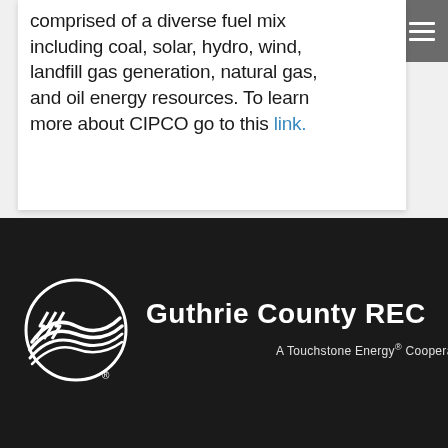comprised of a diverse fuel mix including coal, solar, hydro, wind, landfill gas generation, natural gas, and oil energy resources. To learn more about CIPCO go to this link.
[Figure (logo): Guthrie County REC logo — circular emblem with lightning bolt / landscape graphic in white, text 'Guthrie County REC' and 'A Touchstone Energy® Cooperative' with Touchstone star figure logo, all in white on dark background]